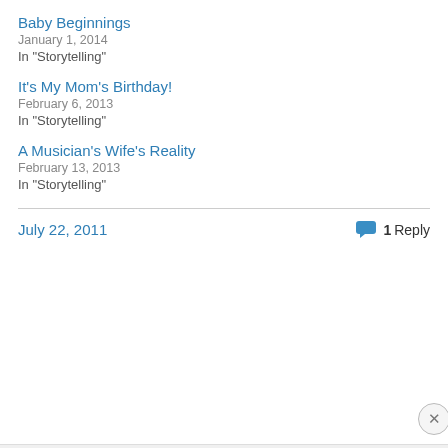Baby Beginnings
January 1, 2014
In "Storytelling"
It's My Mom's Birthday!
February 6, 2013
In "Storytelling"
A Musician's Wife's Reality
February 13, 2013
In "Storytelling"
July 22, 2011
1 Reply
Privacy & Cookies: This site uses cookies. By continuing to use this website, you agree to their use.
To find out more, including how to control cookies, see here: Cookie Policy
Close and accept